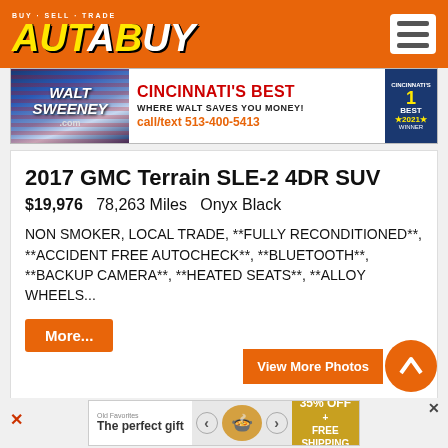AutoBuy — Buy · Sell · Trade
[Figure (advertisement): Walt Sweeney dealership ad: Cincinnati's Best — Where Walt Saves You Money! call/text 513-400-5413, Cincinnati's Best 2021 winner badge]
2017 GMC Terrain SLE-2 4DR SUV
$19,976   78,263 Miles   Onyx Black
NON SMOKER, LOCAL TRADE, **FULLY RECONDITIONED**, **ACCIDENT FREE AUTOCHECK**, **BLUETOOTH**, **BACKUP CAMERA**, **HEATED SEATS**, **ALLOY WHEELS...
[Figure (advertisement): Bottom ad for 'The perfect gift' with food product imagery and '35% OFF + FREE SHIPPING' promotional text]